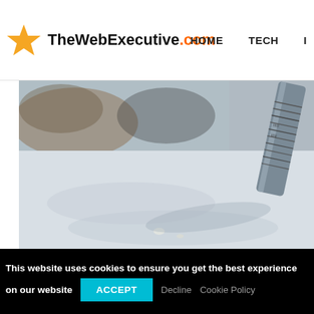TheWebExecutive.com | HOME | TECH | I
[Figure (photo): Close-up macro photo of a fountain pen nib tip touching a white surface, with blurred background showing dark and warm-toned shapes. The pen nib is silver/metallic with engraved text. The white foreground shows ice or snow-like texture.]
This website uses cookies to ensure you get the best experience on our website  ACCEPT  Decline  Cookie Policy